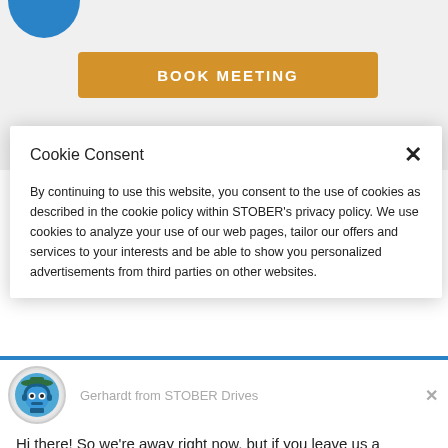[Figure (logo): Blue rounded shape at top left, partial view of STOBER logo]
BOOK MEETING
Cookie Consent
By continuing to use this website, you consent to the use of cookies as described in the cookie policy within STOBER's privacy policy. We use cookies to analyze your use of our web pages, tailor our offers and services to your interests and be able to show you personalized advertisements from third parties on other websites.
Gerhardt from STOBER Drives
Hi there! So we're away right now, but if you leave us a message we'll get back to you soon.
Reply to Gerhardt